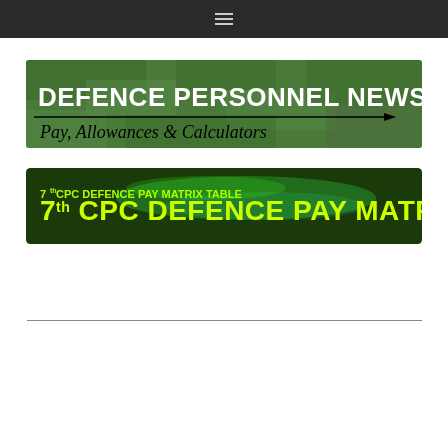Navigation menu bar
[Figure (logo): Defence Personnel News banner with text 'DEFENCE PERSONNEL NEWS' and subtitle 'Pay, Allowances & Calculators' on a green camouflage background]
[Figure (logo): 7th CPC Defence Pay Matrix Table banner with yellow text on dark green background with light green swoosh effect]